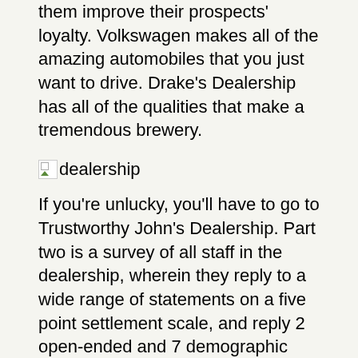them improve their prospects' loyalty. Volkswagen makes all of the amazing automobiles that you just want to drive. Drake's Dealership has all of the qualities that make a tremendous brewery.
[Figure (other): Broken image placeholder labeled 'dealership']
If you're unlucky, you'll have to go to Trustworthy John's Dealership. Part two is a survey of all staff in the dealership, wherein they reply to a wide range of statements on a five point settlement scale, and reply 2 open-ended and 7 demographic questions.
[Figure (other): Broken image placeholder labeled 'dealership']
The dealership referred to as the Hercules workforce right then and there," Pedro Sr. mentioned. Come and see the distinction the commitment to innovation makes when you're on the lookout for a automotive dealership in Winnipeg. Our businesses repeatedly develop progressive options that allow our prospects to attain their aims.
We are dedicated to providing distinctive customer service to Houston Chevrolet prospects and being an integral a part of our